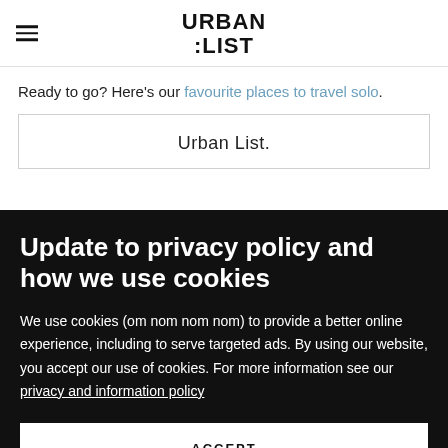URBAN LIST
Ready to go? Here's our favourite places to travel solo.
Urban List.
Update to privacy policy and how we use cookies
We use cookies (om nom nom nom) to provide a better online experience, including to serve targeted ads. By using our website, you accept our use of cookies. For more information see our privacy and information policy
ACCEPT